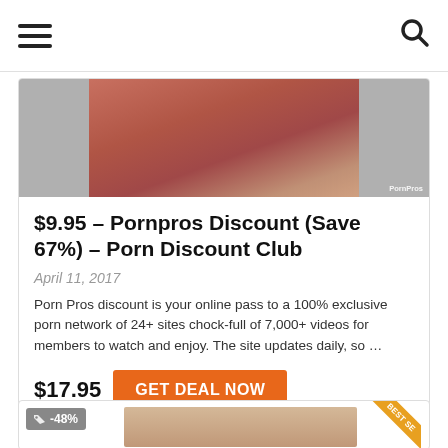Navigation header with hamburger menu and search icon
[Figure (photo): Partial photo from a Pornpros promotional image with watermark 'PornPros']
$9.95 – Pornpros Discount (Save 67%) – Porn Discount Club
April 11, 2017
Porn Pros discount is your online pass to a 100% exclusive porn network of 24+ sites chock-full of 7,000+ videos for members to watch and enjoy. The site updates daily, so …
$17.95   GET DEAL NOW
[Figure (photo): Partial view of a second card with -48% discount badge and BEST SE ribbon visible at the bottom of the page]